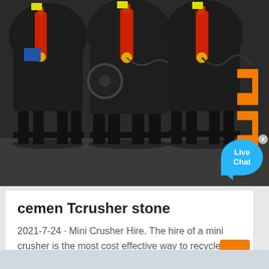[Figure (photo): Industrial cone crushers / grinding machines with red hydraulic cylinders and black metal frames on a factory floor. A 'Live Chat' speech bubble overlay and an orange bracket/arrow decoration are visible in the bottom-right corner of the image.]
cemen Tcrusher stone
2021-7-24 · Mini Crusher Hire. The hire of a mini crusher is the most cost effective way to recycle any waste materials from a construction or...